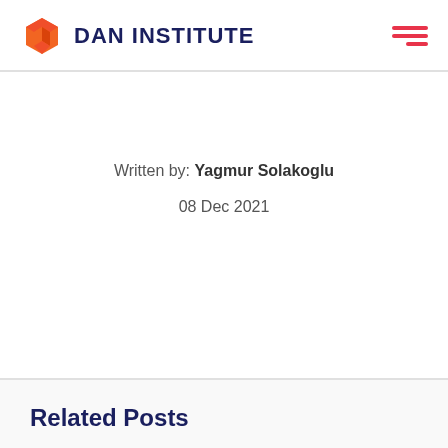DAN INSTITUTE
Written by: Yagmur Solakoglu
08 Dec 2021
Related Posts